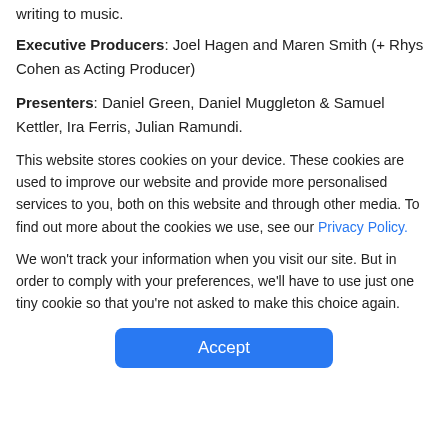writing to music.
Executive Producers: Joel Hagen and Maren Smith (+ Rhys Cohen as Acting Producer)
Presenters: Daniel Green, Daniel Muggleton & Samuel Kettler, Ira Ferris, Julian Ramundi.
This website stores cookies on your device. These cookies are used to improve our website and provide more personalised services to you, both on this website and through other media. To find out more about the cookies we use, see our Privacy Policy.
We won't track your information when you visit our site. But in order to comply with your preferences, we'll have to use just one tiny cookie so that you're not asked to make this choice again.
Accept